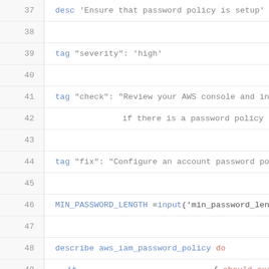[Figure (screenshot): Code editor screenshot showing lines 37-56 of a Ruby/RSpec test file for AWS IAM password policy. Lines include desc, tag, describe, it, and its statements with keywords highlighted in blue and red.]